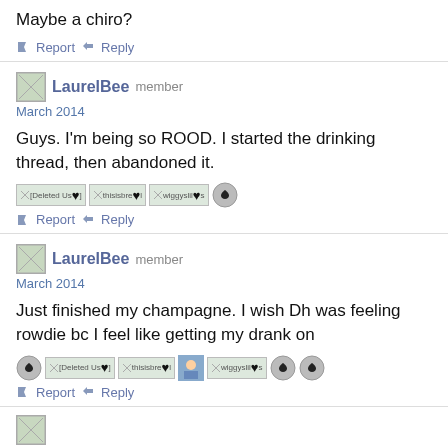Maybe a chiro?
Report   Reply
LaurelBee  LaurelBee  member
March 2014
Guys. I'm being so ROOD. I started the drinking thread, then abandoned it.
[Deleted Us♥]  thisisbre♥l  wiggyslil♥s  [heart icon]
Report   Reply
LaurelBee  LaurelBee  member
March 2014
Just finished my champagne. I wish Dh was feeling rowdie bc I feel like getting my drank on
[heart] [Deleted Us♥]  thisisbre♥l  [avatar]  wiggyslil♥s  [heart]  [heart]
Report   Reply